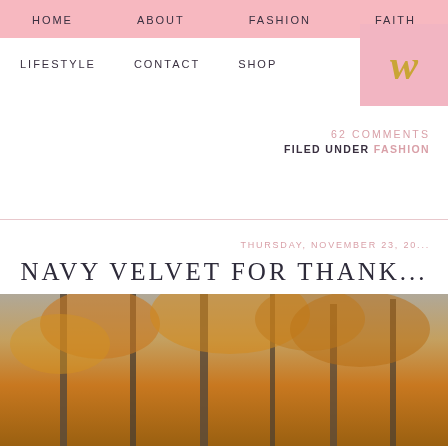HOME  ABOUT  FASHION  FAITH
LIFESTYLE  CONTACT  SHOP
62 COMMENTS
FILED UNDER FASHION
THURSDAY, NOVEMBER 23, 20...
NAVY VELVET FOR THANK...
[Figure (photo): Autumn trees with orange and yellow foliage]